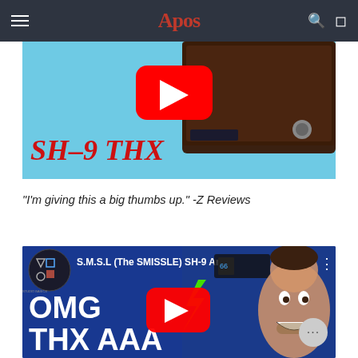Apos
[Figure (screenshot): YouTube video thumbnail showing SMSL SH-9 THX headphone amplifier on a blue background with YouTube play button. Red handwritten text reads 'SH-9 THX'.]
"I'm giving this a big thumbs up." -Z Reviews
[Figure (screenshot): YouTube video thumbnail for 'S.M.S.L (The SMISSLE) SH-9 Am...' by Home Studio Basics. Blue background with a man's surprised face, large white text reading 'OMG THX AAA!!!' with green lightning bolt and YouTube play button.]